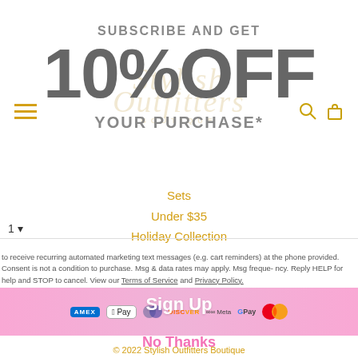SUBSCRIBE AND GET 10% OFF YOUR PURCHASE*
[Figure (logo): Stylish Outfitters Boutique watermark logo in script font with subtitle BOUTIQUE]
Sets
Under $35
Holiday Collection
to receive recurring automated marketing text messages (e.g. cart reminders) at the phone provided. Consent is not a condition to purchase. Msg & data rates may apply. Msg frequency. Reply HELP for help and STOP to cancel. View our Terms of Service and Privacy Policy.
[Figure (infographic): Pink gradient payment methods bar with Sign Up overlay text. Shows AMEX, Apple Pay, Diners, Discover, Meta Pay, Google Pay, Mastercard payment icons.]
Sign Up
[Figure (infographic): Second row of payment icons: PayPal, OPay, Venmo, Visa]
No Thanks
© 2022 Stylish Outfitters Boutique